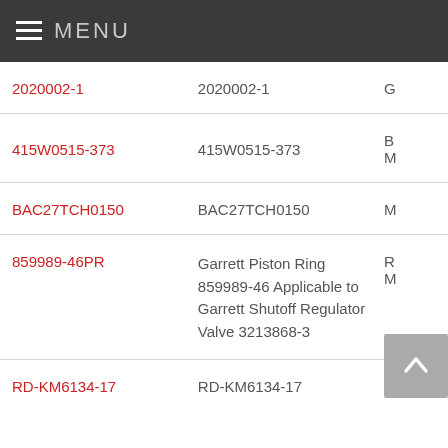MENU
| Part Number | Description | Category |
| --- | --- | --- |
| 2020002-1 | 2020002-1 | G |
| 415W0515-373 | 415W0515-373 | B
M |
| BAC27TCH0150 | BAC27TCH0150 | M |
| 859989-46PR | Garrett Piston Ring 859989-46 Applicable to Garrett Shutoff Regulator Valve 3213868-3 | R
M |
| RD-KM6134-17 | RD-KM6134-17 | A |